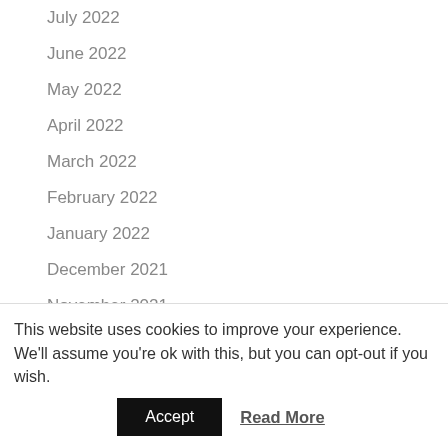July 2022
June 2022
May 2022
April 2022
March 2022
February 2022
January 2022
December 2021
November 2021
October 2021
March 2018
This website uses cookies to improve your experience. We'll assume you're ok with this, but you can opt-out if you wish.
Accept
Read More